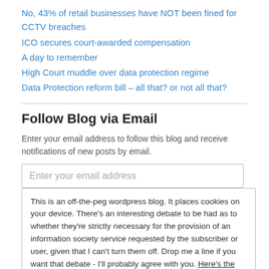No, 43% of retail businesses have NOT been fined for CCTV breaches
ICO secures court-awarded compensation
A day to remember
High Court muddle over data protection regime
Data Protection reform bill – all that? or not all that?
Follow Blog via Email
Enter your email address to follow this blog and receive notifications of new posts by email.
Enter your email address
This is an off-the-peg wordpress blog. It places cookies on your device. There's an interesting debate to be had as to whether they're strictly necessary for the provision of an information society service requested by the subscriber or user, given that I can't turn them off. Drop me a line if you want that debate - I'll probably agree with you. Here's the rub
Close
RSS Links